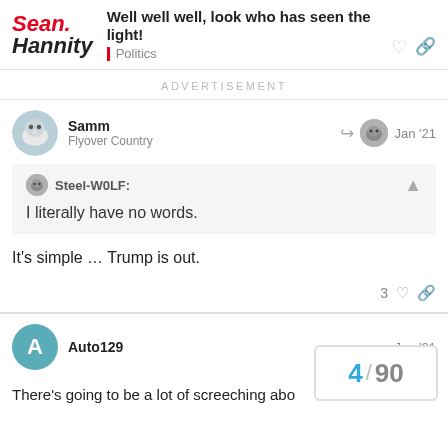Sean Hannity — Well well well, look who has seen the light! — Politics
ADVERTISEMENT
Samm — Flyover Country — Jan '21
Steel-W0LF: I literally have no words.
It's simple … Trump is out.
Auto129 — Jan '21
There's going to be a lot of screeching abo
4 / 90